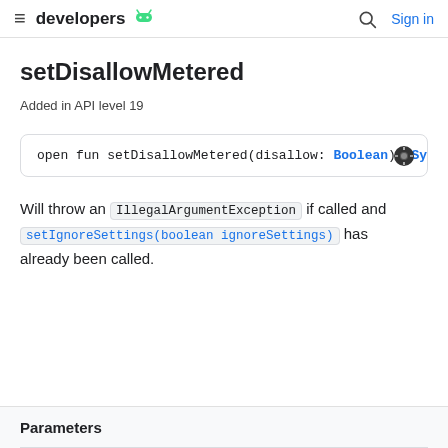≡ developers 🤖  🔍 Sign in
setDisallowMetered
Added in API level 19
open fun setDisallowMetered(disallow: Boolean): Sync
Will throw an IllegalArgumentException if called and setIgnoreSettings(boolean ignoreSettings) has already been called.
Parameters